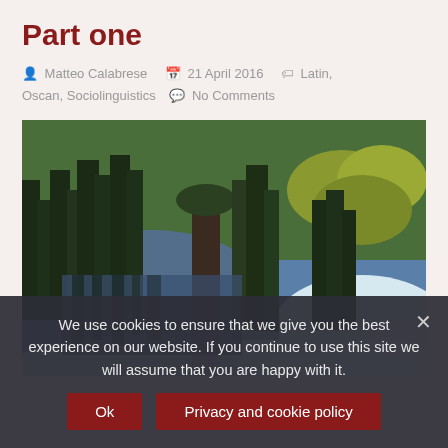Part one
Matteo Calabrese   21 April 2016   Latin, Oscan, Sociolinguistics   No Comments
[Figure (photo): A mountain winter landscape with snow on the ground, evergreen pine trees, and a reflective lake or pond visible behind the trees. Snow-covered slopes visible on the right side.]
We use cookies to ensure that we give you the best experience on our website. If you continue to use this site we will assume that you are happy with it.
Ok   Privacy and cookie policy